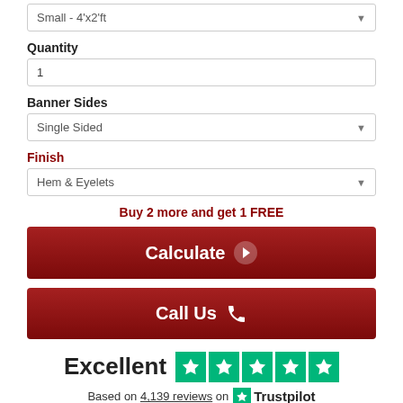Small - 4'x2'ft
Quantity
1
Banner Sides
Single Sided
Finish
Hem & Eyelets
Buy 2 more and get 1 FREE
Calculate →
Call Us ☎
Excellent  ★★★★★
Based on 4,139 reviews on  Trustpilot